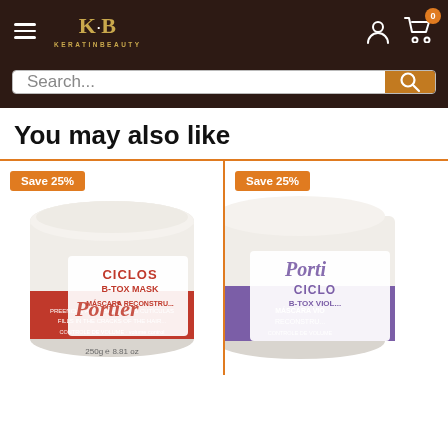KERATINBEAUTY — navigation header with hamburger menu, logo, user icon, cart icon with badge 0
Search...
You may also like
[Figure (photo): Portier Ciclos B-Tox Mask product jar, white with red label, 250g / 8.81 oz, with Save 25% badge]
[Figure (photo): Portier Ciclos B-Tox Violet Máscara Reconstructora product jar, white/purple label, with Save 25% badge, partially cropped]